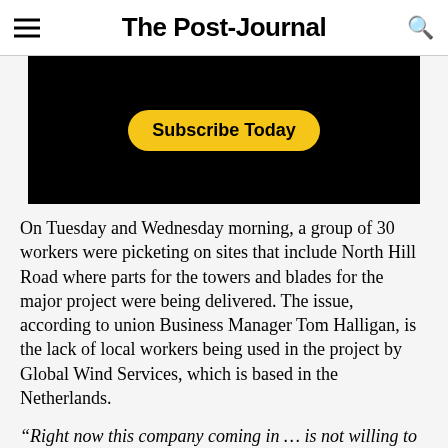The Post-Journal
[Figure (other): Black advertisement banner with yellow 'Subscribe Today' button]
On Tuesday and Wednesday morning, a group of 30 workers were picketing on sites that include North Hill Road where parts for the towers and blades for the major project were being delivered. The issue, according to union Business Manager Tom Halligan, is the lack of local workers being used in the project by Global Wind Services, which is based in the Netherlands.
“Right now this company coming in … is not willing to sign a contract and they’re just sort of playing